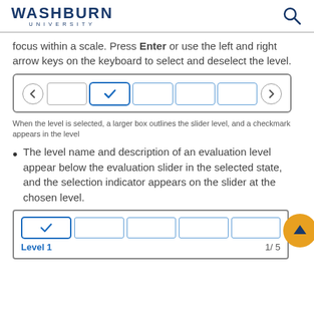WASHBURN UNIVERSITY
focus within a scale. Press Enter or use the left and right arrow keys on the keyboard to select and deselect the level.
[Figure (screenshot): A slider UI component with left arrow, a selected cell with checkmark (larger outlined box), and 4 more empty cells, then right arrow.]
When the level is selected, a larger box outlines the slider level, and a checkmark appears in the level
The level name and description of an evaluation level appear below the evaluation slider in the selected state, and the selection indicator appears on the slider at the chosen level.
[Figure (screenshot): A slider with a selected first cell (checkmark) and 4 empty cells. Below shows 'Level 1' label on the left and '1/5' on the right.]